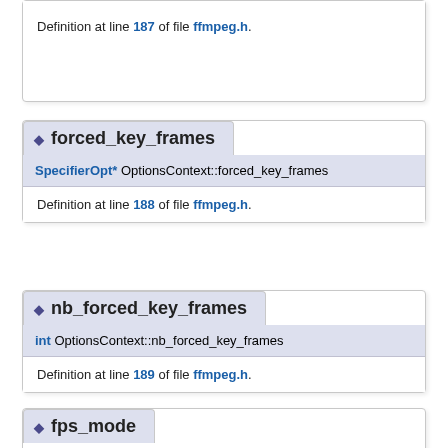Definition at line 187 of file ffmpeg.h.
forced_key_frames
SpecifierOpt* OptionsContext::forced_key_frames
Definition at line 188 of file ffmpeg.h.
nb_forced_key_frames
int OptionsContext::nb_forced_key_frames
Definition at line 189 of file ffmpeg.h.
fps_mode